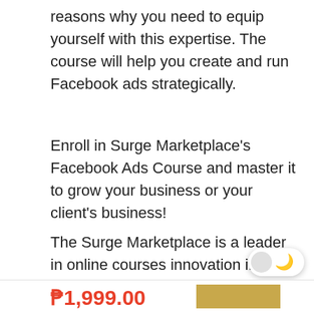reasons why you need to equip yourself with this expertise. The course will help you create and run Facebook ads strategically.
Enroll in Surge Marketplace's Facebook Ads Course and master it to grow your business or your client's business!
The Surge Marketplace is a leader in online courses innovation in the Philippines. We have been crafting relevant, high-quality, and on-demand online training to leverage your freelancing and business this year, with over 30,000 students around the globe!
Millions are shifting to online jobs today. It is the future of work. One gets to earn BIG fast with